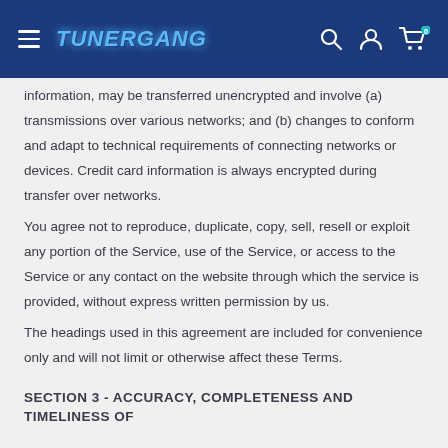TUNERGANG
information, may be transferred unencrypted and involve (a) transmissions over various networks; and (b) changes to conform and adapt to technical requirements of connecting networks or devices. Credit card information is always encrypted during transfer over networks.
You agree not to reproduce, duplicate, copy, sell, resell or exploit any portion of the Service, use of the Service, or access to the Service or any contact on the website through which the service is provided, without express written permission by us.
The headings used in this agreement are included for convenience only and will not limit or otherwise affect these Terms.
SECTION 3 - ACCURACY, COMPLETENESS AND TIMELINESS OF